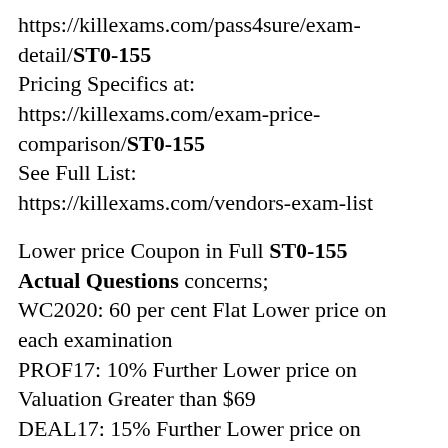https://killexams.com/pass4sure/exam-detail/ST0-155 Pricing Specifics at: https://killexams.com/exam-price-comparison/ST0-155 See Full List: https://killexams.com/vendors-exam-list
Lower price Coupon in Full ST0-155 Actual Questions concerns; WC2020: 60 per cent Flat Lower price on each examination PROF17: 10% Further Lower price on Valuation Greater than $69 DEAL17: 15% Further Lower price on Valuation Greater than 99 dollars